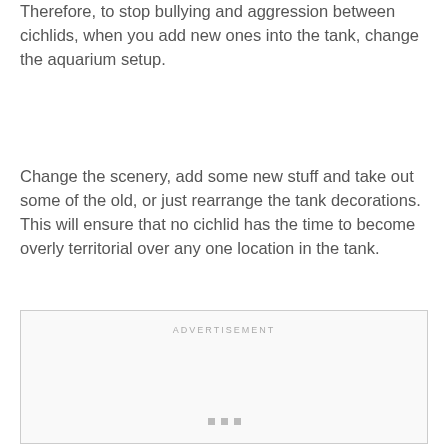Therefore, to stop bullying and aggression between cichlids, when you add new ones into the tank, change the aquarium setup.
Change the scenery, add some new stuff and take out some of the old, or just rearrange the tank decorations. This will ensure that no cichlid has the time to become overly territorial over any one location in the tank.
[Figure (other): Advertisement placeholder box with 'ADVERTISEMENT' label at top and three small square dots at the bottom center.]